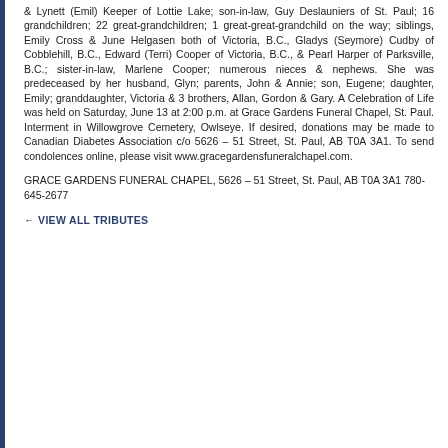& Lynett (Emil) Keeper of Lottie Lake; son-in-law, Guy Deslauniers of St. Paul; 16 grandchildren; 22 great-grandchildren; 1 great-great-grandchild on the way; siblings, Emily Cross & June Helgasen both of Victoria, B.C., Gladys (Seymore) Cudby of Cobblehill, B.C., Edward (Terri) Cooper of Victoria, B.C., & Pearl Harper of Parksville, B.C.; sister-in-law, Marlene Cooper; numerous nieces & nephews. She was predeceased by her husband, Glyn; parents, John & Annie; son, Eugene; daughter, Emily; granddaughter, Victoria & 3 brothers, Allan, Gordon & Gary. A Celebration of Life was held on Saturday, June 13 at 2:00 p.m. at Grace Gardens Funeral Chapel, St. Paul. Interment in Willowgrove Cemetery, Owlseye. If desired, donations may be made to Canadian Diabetes Association c/o 5626 – 51 Street, St. Paul, AB T0A 3A1. To send condolences online, please visit www.gracegardensfuneralchapel.com.
GRACE GARDENS FUNERAL CHAPEL, 5626 – 51 Street, St. Paul, AB T0A 3A1 780-645-2677
← VIEW ALL TRIBUTES